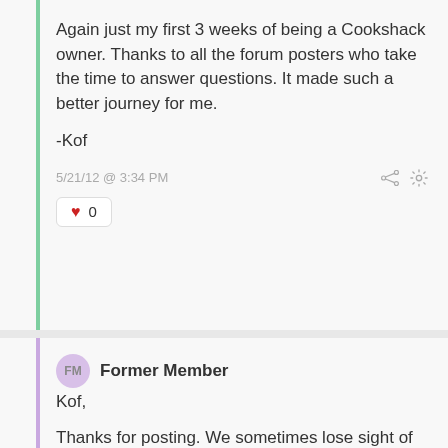Again just my first 3 weeks of being a Cookshack owner. Thanks to all the forum posters who take the time to answer questions. It made such a better journey for me.
-Kof
5/21/12 @ 3:34 PM
♥ 0
FM Former Member
Kof,
Thanks for posting. We sometimes lose sight of this thread, but there is SO much great information, it should be one of the first people hit.